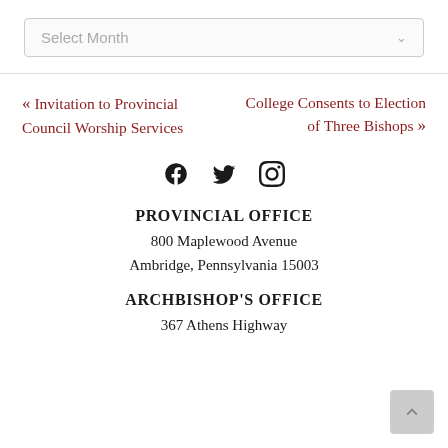Select Month
« Invitation to Provincial Council Worship Services
College Consents to Election of Three Bishops »
[Figure (other): Social media icons: Facebook, Twitter, Instagram]
PROVINCIAL OFFICE
800 Maplewood Avenue
Ambridge, Pennsylvania 15003
ARCHBISHOP'S OFFICE
367 Athens Highway